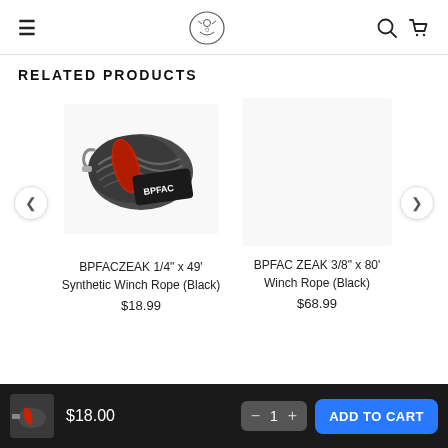Navigation header with hamburger menu, logo, search and cart icons
RELATED PRODUCTS
[Figure (photo): BPFAC branded black synthetic winch rope coiled and wrapped with red banding, showing BPFAC logo tag]
BPFACZEAK 1/4" x 49' Synthetic Winch Rope (Black)
$18.99
BPFAC ZEAK 3/8" x 80' Winch Rope (Black)
$68.99
$18.00  1  ADD TO CART